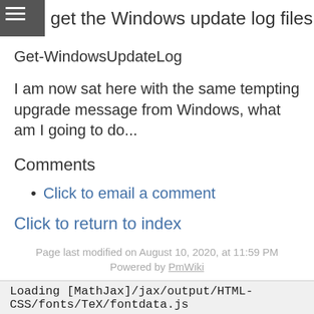get the Windows update log files use the command
Get-WindowsUpdateLog
I am now sat here with the same tempting upgrade message from Windows, what am I going to do...
Comments
Click to email a comment
Click to return to index
Page last modified on August 10, 2020, at 11:59 PM
Powered by PmWiki
Loading [MathJax]/jax/output/HTML-CSS/fonts/TeX/fontdata.js